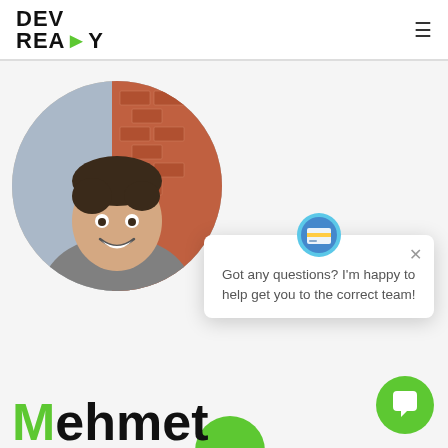[Figure (logo): DEV READY logo with green play button triangle replacing the O in READY]
[Figure (photo): Circular cropped portrait photo of a young man smiling, wearing a grey henley shirt, standing in front of a brick wall]
[Figure (screenshot): Chat popup widget with bot icon, close button X, and text: Got any questions? I'm happy to help get you to the correct team!]
Got any questions? I'm happy to help get you to the correct team!
Mehmet